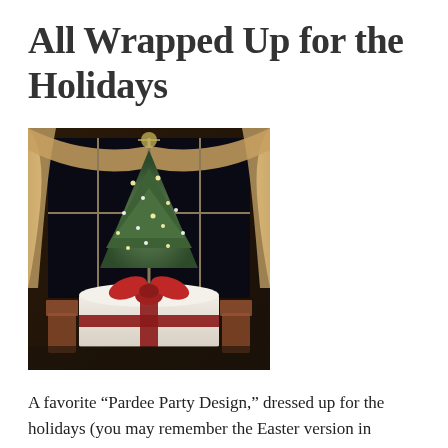All Wrapped Up for the Holidays
[Figure (photo): A decorated Christmas tree with white lights and ornaments, standing behind a round table wrapped like a gift with a red ribbon and bow. Large windows with cream drapes are visible in the background, with chairs on either side of the table.]
A favorite “Pardee Party Design,” dressed up for the holidays (you may remember the Easter version in lavender and white stripes). That’s one thing I love